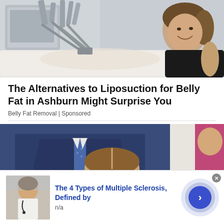[Figure (photo): Woman smiling while lying on a medical/cosmetic treatment table with equipment arms around her, in a clinical setting]
The Alternatives to Liposuction for Belly Fat in Ashburn Might Surprise You
Belly Fat Removal | Sponsored
[Figure (photo): Close-up of a child's head from above with parents in background, man in blue suit and woman in pink]
[Figure (photo): Advertisement overlay: thumbnail of a woman doctor, title 'The 4 Types of Multiple Sclerosis, Defined by', source 'n/a', with a blue circular arrow button]